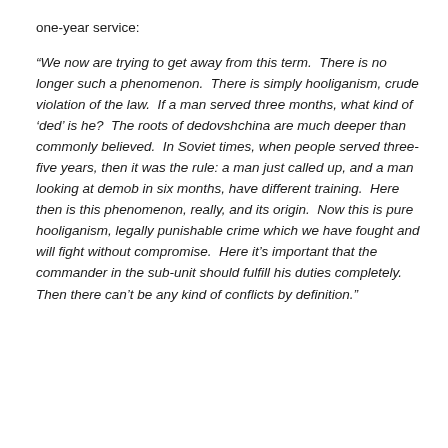one-year service:
“We now are trying to get away from this term.  There is no longer such a phenomenon.  There is simply hooliganism, crude violation of the law.  If a man served three months, what kind of ‘ded’ is he?  The roots of dedovshchina are much deeper than commonly believed.  In Soviet times, when people served three-five years, then it was the rule: a man just called up, and a man looking at demob in six months, have different training.  Here then is this phenomenon, really, and its origin.  Now this is pure hooliganism, legally punishable crime which we have fought and will fight without compromise.  Here it’s important that the commander in the sub-unit should fulfill his duties completely.  Then there can’t be any kind of conflicts by definition.”